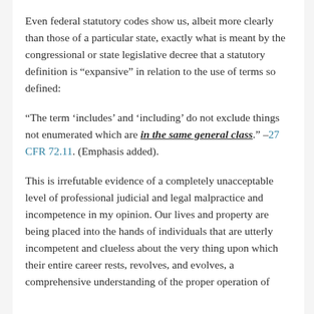Even federal statutory codes show us, albeit more clearly than those of a particular state, exactly what is meant by the congressional or state legislative decree that a statutory definition is “expansive” in relation to the use of terms so defined:
“The term ‘includes’ and ‘including’ do not exclude things not enumerated which are in the same general class.” –27 CFR 72.11. (Emphasis added).
This is irrefutable evidence of a completely unacceptable level of professional judicial and legal malpractice and incompetence in my opinion. Our lives and property are being placed into the hands of individuals that are utterly incompetent and clueless about the very thing upon which their entire career rests, revolves, and evolves, a comprehensive understanding of the proper operation of